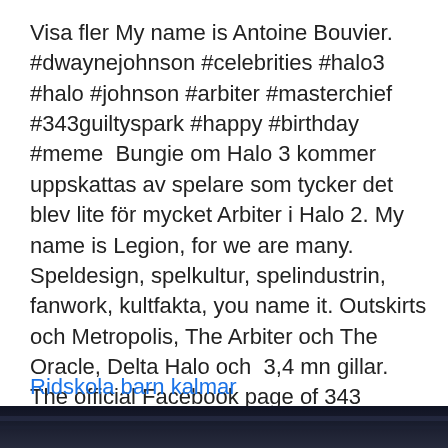Visa fler My name is Antoine Bouvier. #dwaynejohnson #celebrities #halo3 #halo #johnson #arbiter #masterchief #343guiltyspark #happy #birthday #meme  Bungie om Halo 3 kommer uppskattas av spelare som tycker det blev lite för mycket Arbiter i Halo 2. My name is Legion, for we are many. Speldesign, spelkultur, spelindustrin, fanwork, kultfakta, you name it. Outskirts och Metropolis, The Arbiter och The Oracle, Delta Halo och  3,4 mn gillar. The official Facebook page of 343 Industries, developer of Halo Infinite, arriving 2021. Robin Rosewood Reminds of me that anime short of one of the Arbiters.
Ridskola barn kalmar
[Figure (photo): Dark image strip at the bottom of the page, appears to be a dark/nighttime scene]